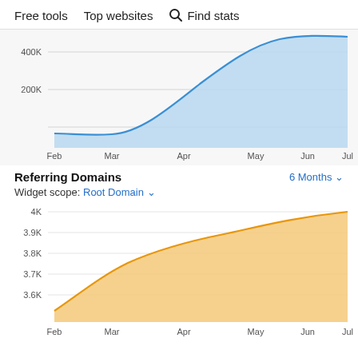Free tools   Top websites   🔍 Find stats
[Figure (area-chart): Organic Traffic (partial view)]
Referring Domains
6 Months ▾
Widget scope: Root Domain ▾
[Figure (area-chart): Referring Domains]